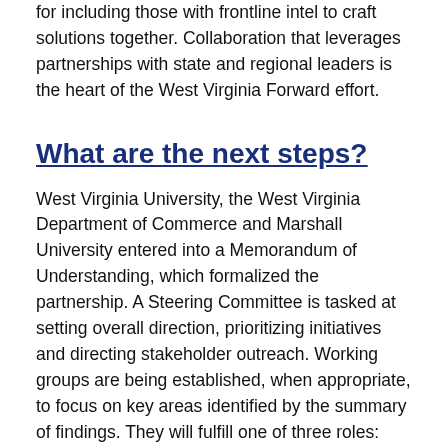conversation while recognizing that there is no substitute for including those with frontline intel to craft solutions together. Collaboration that leverages partnerships with state and regional leaders is the heart of the West Virginia Forward effort.
What are the next steps?
West Virginia University, the West Virginia Department of Commerce and Marshall University entered into a Memorandum of Understanding, which formalized the partnership. A Steering Committee is tasked at setting overall direction, prioritizing initiatives and directing stakeholder outreach. Working groups are being established, when appropriate, to focus on key areas identified by the summary of findings. They will fulfill one of three roles:
Additional text below (partially visible)